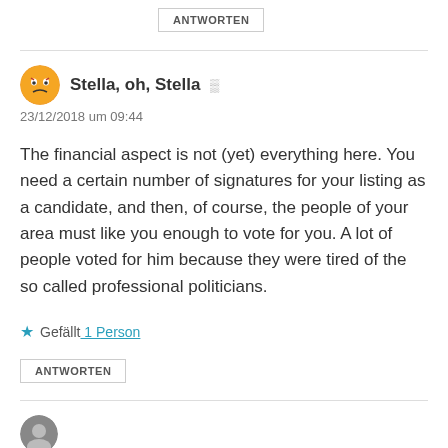ANTWORTEN
Stella, oh, Stella
23/12/2018 um 09:44
The financial aspect is not (yet) everything here. You need a certain number of signatures for your listing as a candidate, and then, of course, the people of your area must like you enough to vote for you. A lot of people voted for him because they were tired of the so called professional politicians.
Gefällt 1 Person
ANTWORTEN